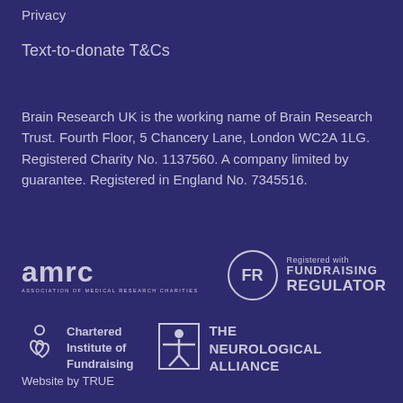Privacy
Text-to-donate T&Cs
Brain Research UK is the working name of Brain Research Trust. Fourth Floor, 5 Chancery Lane, London WC2A 1LG. Registered Charity No. 1137560. A company limited by guarantee. Registered in England No. 7345516.
[Figure (logo): AMRC (Association of Medical Research Charities) logo in light grey on dark purple background]
[Figure (logo): Registered with Fundraising Regulator (FR circle logo) in light grey on dark purple background]
[Figure (logo): Chartered Institute of Fundraising logo with heart/person icon in light grey on dark purple background]
[Figure (logo): The Neurological Alliance logo with figure icon in light grey on dark purple background]
Website by TRUE